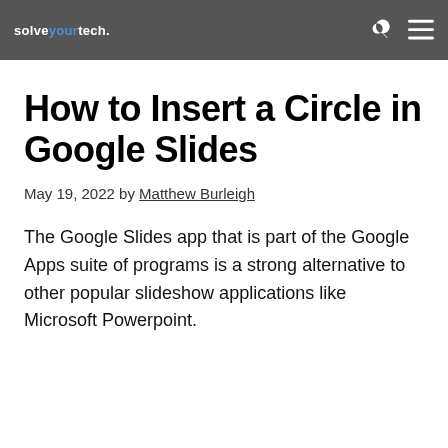solveyourtech.
How to Insert a Circle in Google Slides
May 19, 2022 by Matthew Burleigh
The Google Slides app that is part of the Google Apps suite of programs is a strong alternative to other popular slideshow applications like Microsoft Powerpoint.